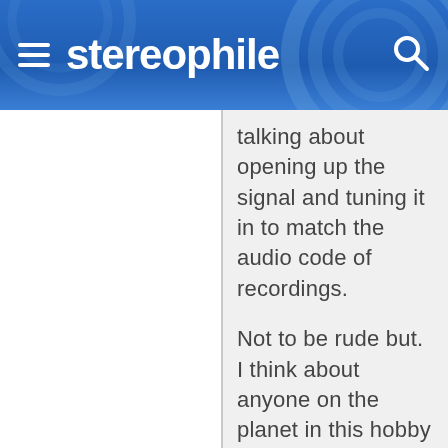stereophile
talking about opening up the signal and tuning it in to match the audio code of recordings.

Not to be rude but. I think about anyone on the planet in this hobby now can tell